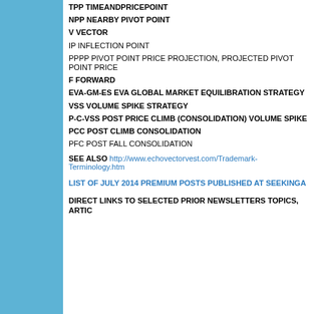TPP TIMEANDPRICEPOINT
NPP NEARBY PIVOT POINT
V VECTOR
IP INFLECTION POINT
PPPP PIVOT POINT PRICE PROJECTION, PROJECTED PIVOT POINT PRICE
F FORWARD
EVA-GM-ES EVA GLOBAL MARKET EQUILIBRATION STRATEGY
VSS VOLUME SPIKE STRATEGY
P-C-VSS POST PRICE CLIMB (CONSOLIDATION) VOLUME SPIKE
PCC POST CLIMB CONSOLIDATION
PFC POST FALL CONSOLIDATION
SEE ALSO http://www.echovectorvest.com/Trademark-Terminology.htm
LIST OF JULY 2014 PREMIUM POSTS PUBLISHED AT SEEKINGALPHA
DIRECT LINKS TO SELECTED PRIOR NEWSLETTERS TOPICS, ARTICLES